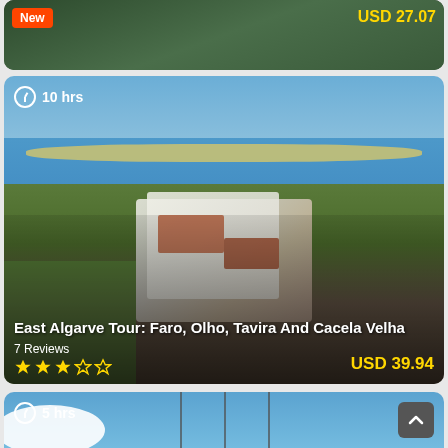[Figure (photo): Partial tour card (top) showing green landscape with New badge and price USD 27.07]
[Figure (photo): Aerial photo of Cacela Velha village on peninsula surrounded by water, Algarve Portugal]
10 hrs
East Algarve Tour: Faro, Olho, Tavira And Cacela Velha
7 Reviews
USD 39.94
[Figure (photo): Partial tour card showing fortress/castle stone walls with blue sky, 5 hrs duration label]
5 hrs
More Filters